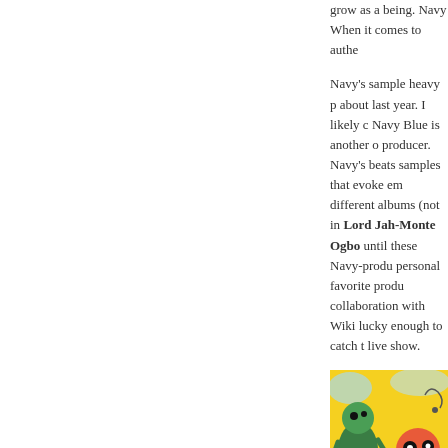grow as a being. Navy When it comes to authe
Navy's sample heavy p about last year. I likely c Navy Blue is another o producer. Navy's beats samples that evoke em different albums (not in Lord Jah-Monte Ogbo until these Navy-produ personal favorite produ collaboration with Wiki lucky enough to catch t live show.
[Figure (illustration): Colorful abstract art with green figures on a yellow background with graffiti-style illustration, partially visible at bottom right of the page.]